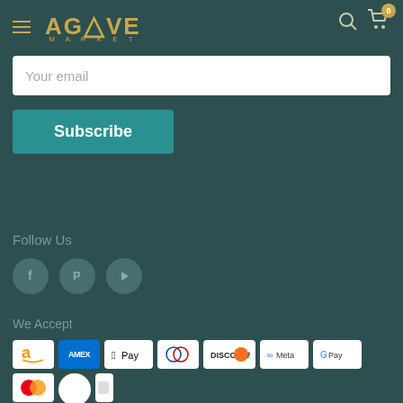[Figure (logo): Agave Market logo with hamburger menu, search icon, and cart icon with badge showing 0]
Your email
Subscribe
Follow Us
[Figure (illustration): Three social media icons: Facebook, Pinterest, YouTube in grey circles]
We Accept
[Figure (illustration): Payment method icons: Amazon, Amex, Apple Pay, Diners Club, Discover, Meta Pay, Google Pay, Mastercard, Shop Pay, Venmo, Visa]